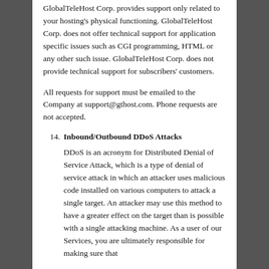GlobalTeleHost Corp. provides support only related to your hosting's physical functioning. GlobalTeleHost Corp. does not offer technical support for application specific issues such as CGI programming, HTML or any other such issue. GlobalTeleHost Corp. does not provide technical support for subscribers' customers.
All requests for support must be emailed to the Company at support@gthost.com. Phone requests are not accepted.
14. Inbound/Outbound DDoS Attacks
DDoS is an acronym for Distributed Denial of Service Attack, which is a type of denial of service attack in which an attacker uses malicious code installed on various computers to attack a single target. An attacker may use this method to have a greater effect on the target than is possible with a single attacking machine. As a user of our Services, you are ultimately responsible for making sure that